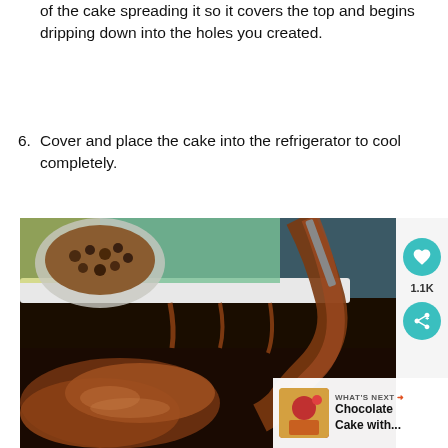of the cake spreading it so it covers the top and begins dripping down into the holes you created.
6. Cover and place the cake into the refrigerator to cool completely.
[Figure (photo): Close-up photo of chocolate sauce being poured over a dark chocolate cake in a white baking pan, with a bowl of chocolate chips in the background. A circular teal heart button showing 1.1K likes and a share button are overlaid on the right side. A 'What's Next' panel shows a Chocolate Cake thumbnail.]